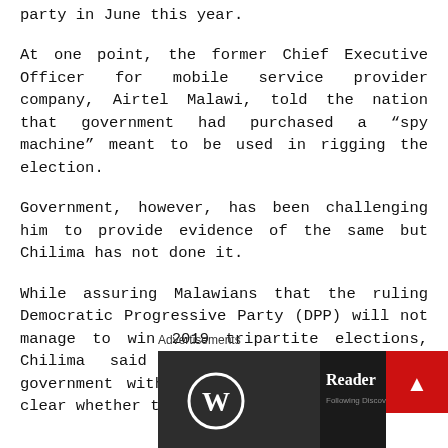party in June this year.
At one point, the former Chief Executive Officer for mobile service provider company, Airtel Malawi, told the nation that government had purchased a “spy machine” meant to be used in rigging the election.
Government, however, has been challenging him to provide evidence of the same but Chilima has not done it.
While assuring Malawians that the ruling Democratic Progressive Party (DPP) will not manage to win 2019 tripartite elections, Chilima said he will form the next government with UTM. It was, however, not clear whether this will be through rigging.
Advertisements
[Figure (screenshot): WordPress mobile app advertisement showing WordPress logo on dark background and Reader panel with Following, Discover, Likes, Saved tabs. A red scroll-to-top button is visible on the right.]